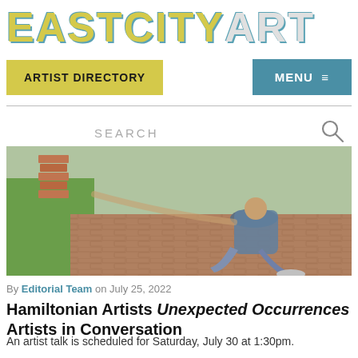EASTCITYART
ARTIST DIRECTORY
MENU ≡
SEARCH
[Figure (photo): A person crouching on a brick pathway, stacking or pulling blocks from a tall stack of bricks near a grassy lawn.]
By Editorial Team on July 25, 2022
Hamiltonian Artists Unexpected Occurrences Artists in Conversation
An artist talk is scheduled for Saturday, July 30 at 1:30pm.